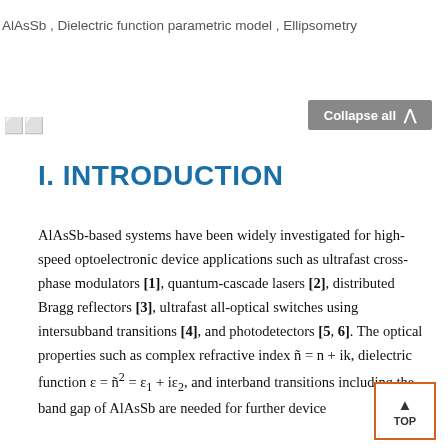AlAsSb , Dielectric function parametric model , Ellipsometry
I. INTRODUCTION
AlAsSb-based systems have been widely investigated for high-speed optoelectronic device applications such as ultrafast cross-phase modulators [1], quantum-cascade lasers [2], distributed Bragg reflectors [3], ultrafast all-optical switches using intersubband transitions [4], and photodetectors [5, 6]. The optical properties such as complex refractive index ñ = n + ik, dielectric function ε = ñ² = ε₁ + iε₂, and interband transitions including the band gap of AlAsSb are needed for further device